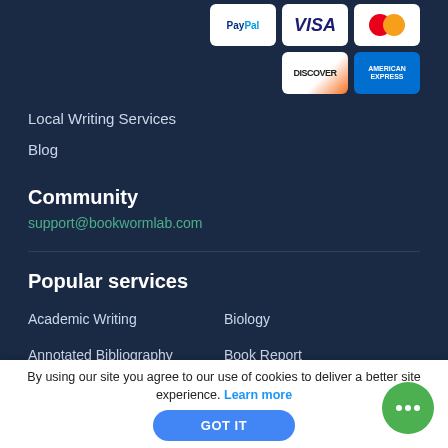[Figure (logo): PayPal payment logo]
[Figure (logo): Visa payment logo]
[Figure (logo): Mastercard payment logo]
[Figure (logo): Discover payment logo]
[Figure (logo): American Express payment logo]
Local Writing Services
Blog
Community
support@bookwormlab.com
Popular services
Academic Writing
Biology
Annotated Bibliography
Book Report
By using our site you agree to our use of cookies to deliver a better site experience. Learn more
GOT IT